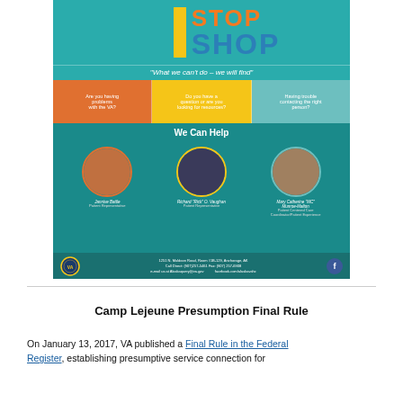[Figure (infographic): One Stop Shop VA infographic poster in teal/orange/yellow color scheme. Shows 'STOP SHOP' title, tagline 'What we can’t do – we will find', three question boxes (Are you having problems with the VA? / Do you have a question or are you looking for resources? / Having trouble contacting the right person?), 'We Can Help' section with photos of three staff members: Jannive Battle (Patient Representative), Richard 'Rick' O. Vaughan (Patient Representative), Mary Catherine 'MC' Munroe-Malton (Patient Centered Care Coordinator/Patient Experience). Footer: 1251 N. Muldoon Road, Room #1B-129, Anchorage, AK, Call Direct: (907)257-5461, Fax: (907) 257-6908, e-mail: Alaskaquery@va.gov, facebook.com/alaskavahc]
Camp Lejeune Presumption Final Rule
On January 13, 2017, VA published a Final Rule in the Federal Register, establishing presumptive service connection for